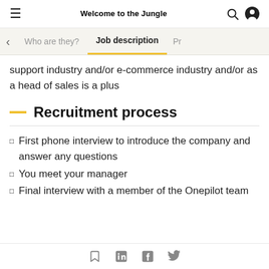Welcome to the Jungle
Who are they?  Job description  Pr
support industry and/or e-commerce industry and/or as a head of sales is a plus
Recruitment process
First phone interview to introduce the company and answer any questions
You meet your manager
Final interview with a member of the Onepilot team